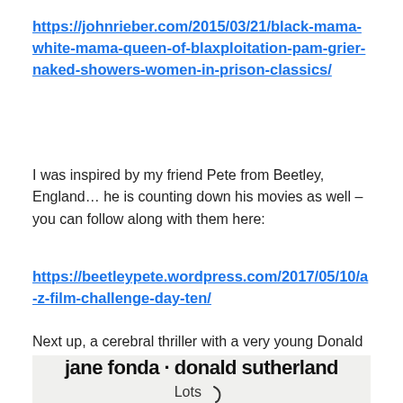https://johnrieber.com/2015/03/21/black-mama-white-mama-queen-of-blaxploitation-pam-grier-naked-showers-women-in-prison-classics/
I was inspired by my friend Pete from Beetley, England… he is counting down his movies as well – you can follow along with them here:
https://beetleypete.wordpress.com/2017/05/10/a-z-film-challenge-day-ten/
Next up, a cerebral thriller with a very young Donald Sutherland…
[Figure (photo): Movie poster showing 'jane fonda · donald sutherland' text in bold black font on light background, with the word 'Lots' below and a small decorative element]